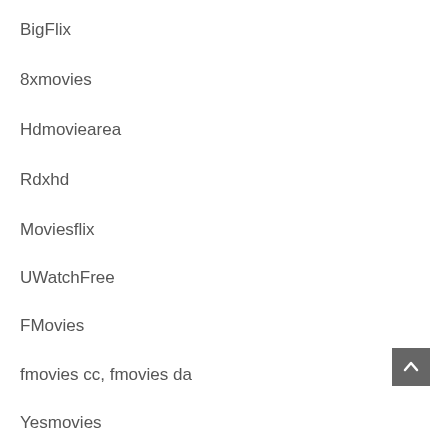BigFlix
8xmovies
Hdmoviearea
Rdxhd
Moviesflix
UWatchFree
FMovies
fmovies cc, fmovies da
Yesmovies